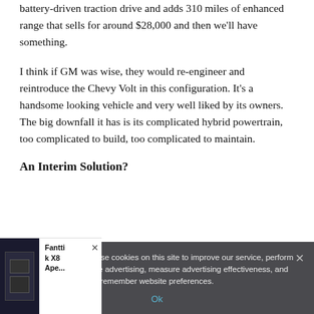battery-driven traction drive and adds 310 miles of enhanced range that sells for around $28,000 and then we'll have something.
I think if GM was wise, they would re-engineer and reintroduce the Chevy Volt in this configuration. It's a handsome looking vehicle and very well liked by its owners. The big downfall it has is its complicated hybrid powertrain, too complicated to build, too complicated to maintain.
An Interim Solution?
We and our partners use cookies on this site to improve our service, perform analytics, personalize advertising, measure advertising effectiveness, and remember website preferences.
Ok
[Figure (other): Advertisement widget showing a device (Fanttik X8 Ape...) with dark background image and text label]